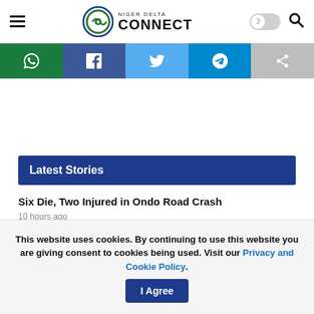Niger Delta Connect
[Figure (screenshot): Social share buttons: WhatsApp, Facebook, Twitter, Telegram, Share]
Latest Stories
Six Die, Two Injured in Ondo Road Crash
10 hours ago
This website uses cookies. By continuing to use this website you are giving consent to cookies being used. Visit our Privacy and Cookie Policy.